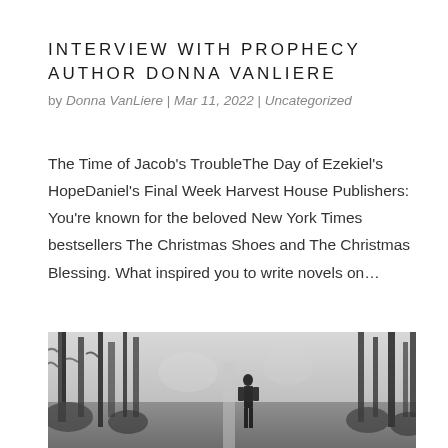INTERVIEW WITH PROPHECY AUTHOR DONNA VANLIERE
by Donna VanLiere | Mar 11, 2022 | Uncategorized
The Time of Jacob's TroubleThe Day of Ezekiel's HopeDaniel's Final Week Harvest House Publishers: You're known for the beloved New York Times bestsellers The Christmas Shoes and The Christmas Blessing. What inspired you to write novels on…
[Figure (photo): Black and white photograph of a person standing in a forest among trees]